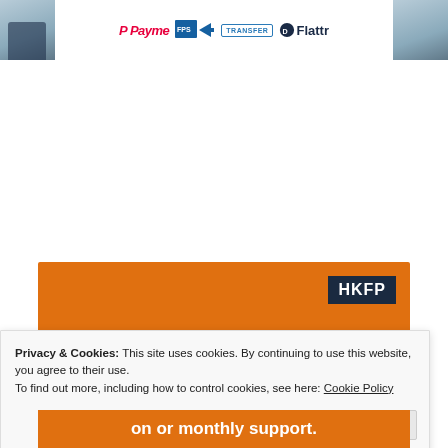[Figure (logo): Top banner area with partial photos on left and right edges, and payment/transfer logos in the center: Payme (red italic), FPS (blue box with arrow), Transfer (blue outlined box), Flattr (dark text with icon)]
[Figure (infographic): Orange donation banner with HKFP logo (white text on dark navy background) and partial text 'Help safeguard' visible]
Privacy & Cookies: This site uses cookies. By continuing to use this website, you agree to their use.
To find out more, including how to control cookies, see here: Cookie Policy
Close and accept
on or monthly support.